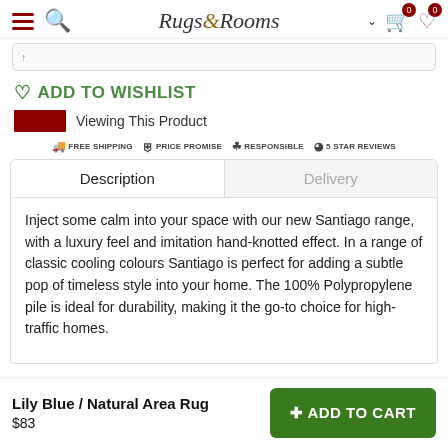Rugs & Rooms
[Figure (screenshot): Thumbnail strip/image navigation bar]
♡ ADD TO WISHLIST
Viewing This Product
FREE SHIPPING   PRICE PROMISE   RESPONSIBLE   5 STAR REVIEWS
Description | Delivery tabs
Inject some calm into your space with our new Santiago range, with a luxury feel and imitation hand-knotted effect. In a range of classic cooling colours Santiago is perfect for adding a subtle pop of timeless style into your home. The 100% Polypropylene pile is ideal for durability, making it the go-to choice for high-traffic homes.
Lily Blue / Natural Area Rug
$83
+ ADD TO CART